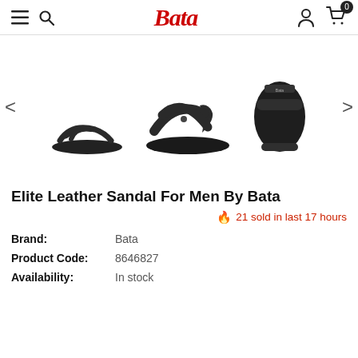Bata — navigation header with hamburger, search, logo, person, and cart icons
[Figure (photo): Product carousel showing three views of a dark navy/black leather sandal for men: side view (left), front-angle view (center), and top-down view (right). Navigation arrows on both sides.]
Elite Leather Sandal For Men By Bata
🔥 21 sold in last 17 hours
Brand: Bata
Product Code: 8646827
Availability: In stock